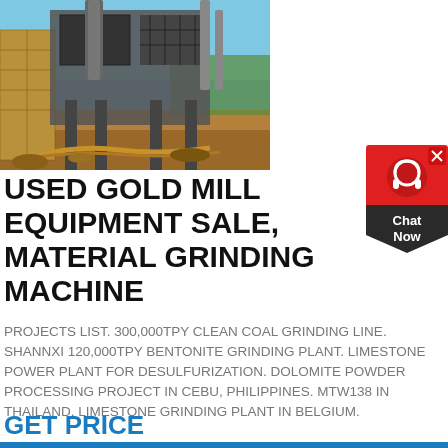[Figure (photo): Outdoor industrial gold mill / grinding equipment on a gravel site, with large metal structures and machinery visible, blue sky in background.]
[Figure (other): Red chat widget with headset icon, 'X' close button, dark pentagon shape below with 'Chat Now' text in white.]
USED GOLD MILL EQUIPMENT SALE, MATERIAL GRINDING MACHINE
PROJECTS LIST. 300,000TPY CLEAN COAL GRINDING LINE. SHANNXI 120,000TPY BENTONITE GRINDING PLANT. LIMESTONE POWER PLANT FOR DESULFURIZATION. DOLOMITE POWDER PROCESSING PROJECT IN CEBU, PHILIPPINES. MTW138 IN THAILAND. LIMESTONE GRINDING PLANT IN BELGIUM.
GET PRICE